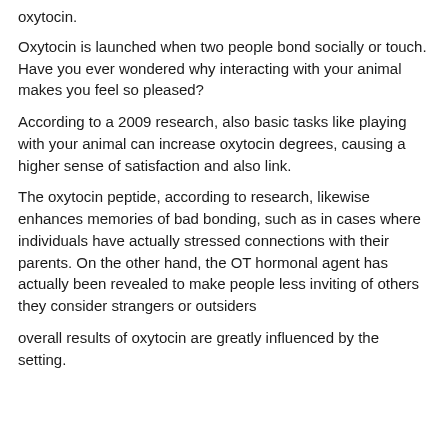oxytocin.
Oxytocin is launched when two people bond socially or touch.
Have you ever wondered why interacting with your animal makes you feel so pleased?
According to a 2009 research, also basic tasks like playing with your animal can increase oxytocin degrees, causing a higher sense of satisfaction and also link.
The oxytocin peptide, according to research, likewise enhances memories of bad bonding, such as in cases where individuals have actually stressed connections with their parents. On the other hand, the OT hormonal agent has actually been revealed to make people less inviting of others they consider strangers or outsiders
overall results of oxytocin are greatly influenced by the setting.